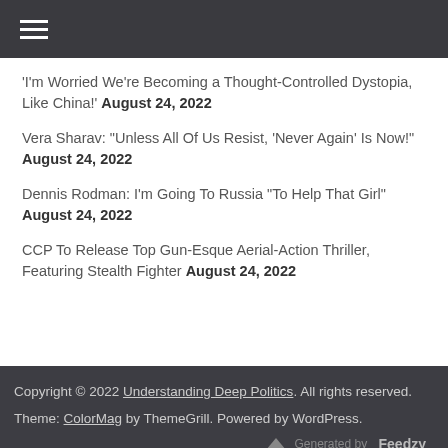≡
'I'm Worried We're Becoming a Thought-Controlled Dystopia, Like China!' August 24, 2022
Vera Sharav: "Unless All Of Us Resist, 'Never Again' Is Now!" August 24, 2022
Dennis Rodman: I'm Going To Russia "To Help That Girl" August 24, 2022
CCP To Release Top Gun-Esque Aerial-Action Thriller, Featuring Stealth Fighter August 24, 2022
Copyright © 2022 Understanding Deep Politics. All rights reserved. Theme: ColorMag by ThemeGrill. Powered by WordPress. Generated by Feedzy